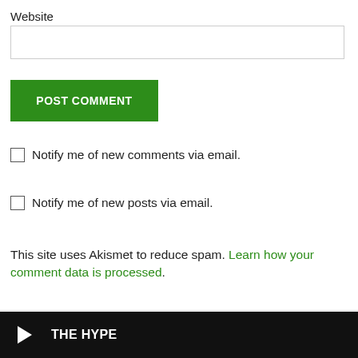Website
[Figure (screenshot): Empty text input field for Website URL]
[Figure (screenshot): Green POST COMMENT button]
Notify me of new comments via email.
Notify me of new posts via email.
This site uses Akismet to reduce spam. Learn how your comment data is processed.
THE HYPE